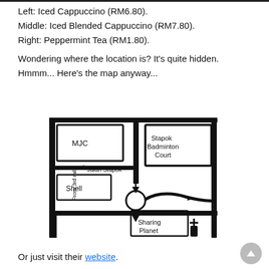Left: Iced Cappuccino (RM6.80).
Middle: Iced Blended Cappuccino (RM7.80).
Right: Peppermint Tea (RM1.80).
Wondering where the location is? It's quite hidden. Hmmm... Here's the map anyway...
[Figure (map): Hand-drawn map showing streets around Sharing Planet cafe. Labels include MJC, Stapok Badminton Court, Shell, Jalan Stapok, Sharing Planet, and a roundabout. Arrows indicate direction from 3rd mile.]
Or just visit their website.